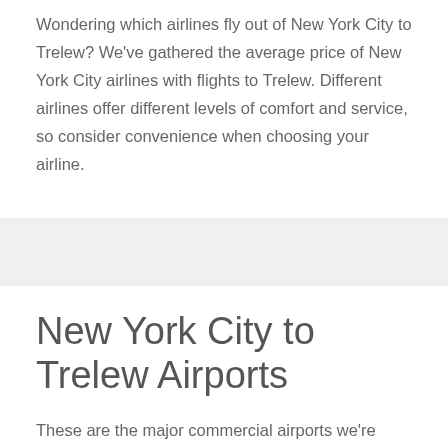Wondering which airlines fly out of New York City to Trelew? We've gathered the average price of New York City airlines with flights to Trelew. Different airlines offer different levels of comfort and service, so consider convenience when choosing your airline.
New York City to Trelew Airports
These are the major commercial airports we're